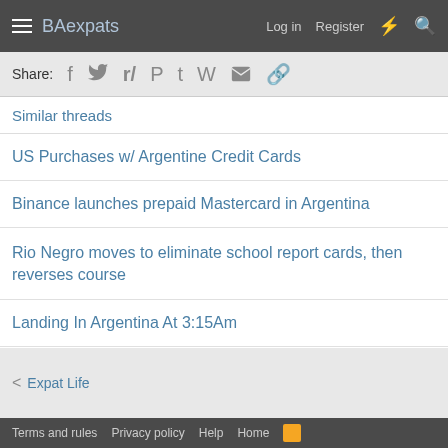BAexpats | Log in | Register
Share:
Similar threads
US Purchases w/ Argentine Credit Cards
Binance launches prepaid Mastercard in Argentina
Rio Negro moves to eliminate school report cards, then reverses course
Landing In Argentina At 3:15Am
Overlanding By Vehicle Or Bike?
Expat Life
Terms and rules  Privacy policy  Help  Home